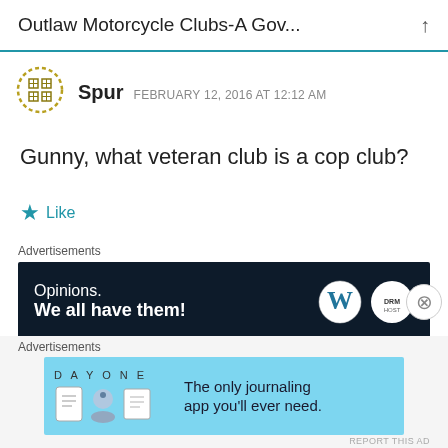Outlaw Motorcycle Clubs-A Gov...
[Figure (other): User avatar icon: a dashed circular border with a grid/table icon in golden/olive color]
Spur  FEBRUARY 12, 2016 AT 12:12 AM
Gunny, what veteran club is a cop club?
Like
Advertisements
[Figure (other): Dark navy advertisement banner: 'Opinions. We all have them!' with WordPress and DreamHost logos]
REPORT THIS AD
Advertisements
[Figure (other): Light blue advertisement banner for Day One journaling app: 'The only journaling app you'll ever need.' with app icons]
REPORT THIS AD